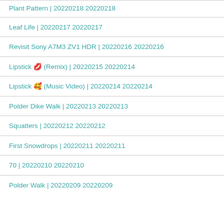Plant Pattern | 20220218 20220218
Leaf Life | 20220217 20220217
Revisit Sony A7M3 ZV1 HDR | 20220216 20220216
Lipstick 💋 (Remix) | 20220215 20220214
Lipstick 🥰 (Music Video) | 20220214 20220214
Polder Dike Walk | 20220213 20220213
Squatters | 20220212 20220212
First Snowdrops | 20220211 20220211
70 | 20220210 20220210
Polder Walk | 20220209 20220209